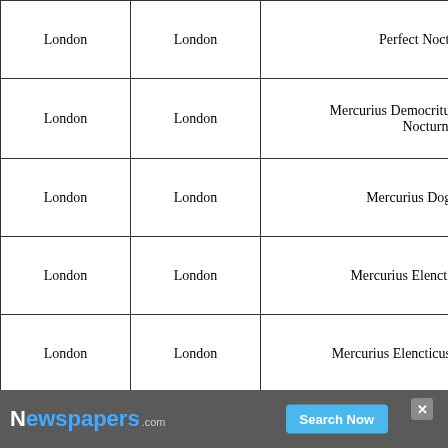| London | London | Perfect Nocturnall |
| London | London | Mercurius Democritus or The Smoa Nocturnal |
| London | London | Mercurius Dogmaticus |
| London | London | Mercurius Elencticus (1647) |
| London | London | Mercurius Elencticus (1649: Whart |
| London | London | Mercurius Elencticus (31 January 1 |